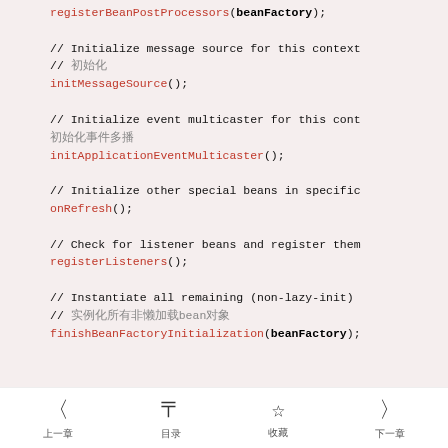registerBeanPostProcessors(beanFactory);

// Initialize message source for this context
// 初始化
initMessageSource();

// Initialize event multicaster for this cont
初始化事件
initApplicationEventMulticaster();

// Initialize other special beans in specific
onRefresh();

// Check for listener beans and register them
registerListeners();

// Instantiate all remaining (non-lazy-init)
// 实例化所有非懒加载bean对象
finishBeanFactoryInitialization(beanFactory);
〈 目录  收藏  分享 〉